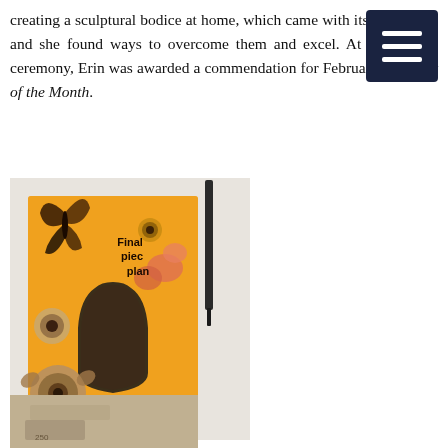creating a sculptural bodice at home, which came with its challenges and she found ways to overcome them and excel. At the awards ceremony, Erin was awarded a commendation for February's Student of the Month.
[Figure (photo): Photo of a hand-drawn and collaged art journal page showing a bodice/corset design plan labeled 'Final piece plan', decorated with illustrated butterflies, flowers, and botanical elements on an orange/yellow background, lying on a white surface with a pen beside it.]
[Figure (photo): Partial photo at bottom of page showing what appears to be fabric or textile work in muted brown/beige tones.]